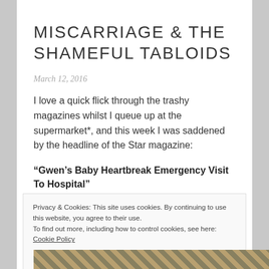MISCARRIAGE & THE SHAMEFUL TABLOIDS
March 12, 2016
I love a quick flick through the trashy magazines whilst I queue up at the supermarket*, and this week I was saddened by the headline of the Star magazine:
“Gwen’s Baby Heartbreak Emergency Visit To Hospital”
Privacy & Cookies: This site uses cookies. By continuing to use this website, you agree to their use.
To find out more, including how to control cookies, see here: Cookie Policy
[Figure (photo): Diagonal striped pattern in gold and dark tones at the bottom of the page]